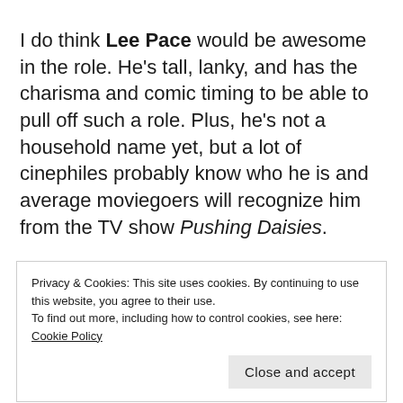I do think Lee Pace would be awesome in the role. He's tall, lanky, and has the charisma and comic timing to be able to pull off such a role. Plus, he's not a household name yet, but a lot of cinephiles probably know who he is and average moviegoers will recognize him from the TV show Pushing Daisies.
Privacy & Cookies: This site uses cookies. By continuing to use this website, you agree to their use. To find out more, including how to control cookies, see here: Cookie Policy